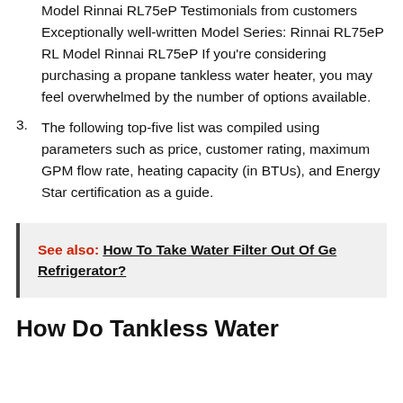Model Rinnai RL75eP Testimonials from customers Exceptionally well-written Model Series: Rinnai RL75eP RL Model Rinnai RL75eP If you're considering purchasing a propane tankless water heater, you may feel overwhelmed by the number of options available.
3. The following top-five list was compiled using parameters such as price, customer rating, maximum GPM flow rate, heating capacity (in BTUs), and Energy Star certification as a guide.
See also: How To Take Water Filter Out Of Ge Refrigerator?
How Do Tankless Water